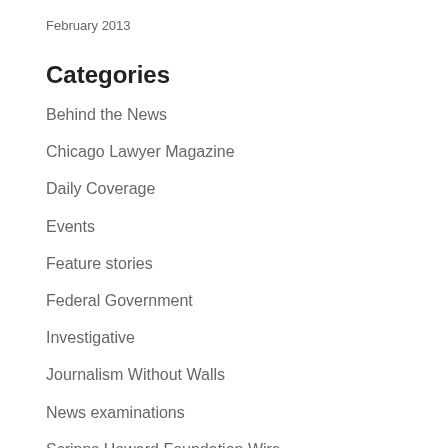February 2013
Categories
Behind the News
Chicago Lawyer Magazine
Daily Coverage
Events
Feature stories
Federal Government
Investigative
Journalism Without Walls
News examinations
Scripps Howard Foundation Wire
Meta